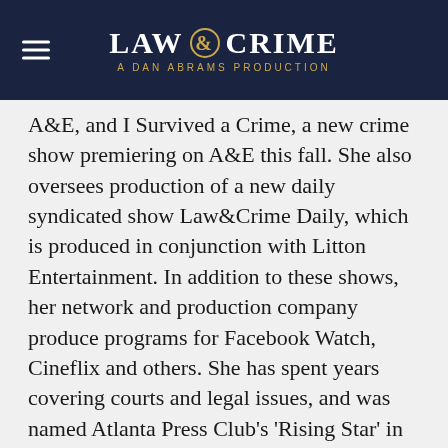LAW & CRIME — A DAN ABRAMS PRODUCTION
A&E, and I Survived a Crime, a new crime show premiering on A&E this fall. She also oversees production of a new daily syndicated show Law&Crime Daily, which is produced in conjunction with Litton Entertainment. In addition to these shows, her network and production company produce programs for Facebook Watch, Cineflix and others. She has spent years covering courts and legal issues, and was named Atlanta Press Club's 'Rising Star' in 2014. Rachel graduated from Northwestern University's Medill